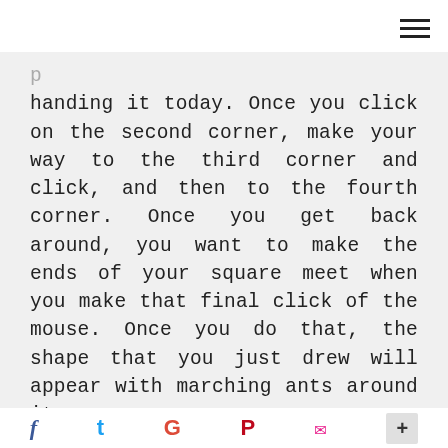≡
handing it today. Once you click on the second corner, make your way to the third corner and click, and then to the fourth corner. Once you get back around, you want to make the ends of your square meet when you make that final click of the mouse. Once you do that, the shape that you just drew will appear with marching ants around it.
f  t  G  P  ✉  +